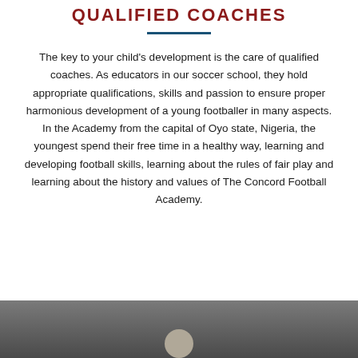QUALIFIED COACHES
The key to your child's development is the care of qualified coaches. As educators in our soccer school, they hold appropriate qualifications, skills and passion to ensure proper harmonious development of a young footballer in many aspects. In the Academy from the capital of Oyo state, Nigeria, the youngest spend their free time in a healthy way, learning and developing football skills, learning about the rules of fair play and learning about the history and values of The Concord Football Academy.
[Figure (photo): Bottom portion of a photograph showing a person, likely a coach, cropped to show head/shoulders area at the bottom of the page.]